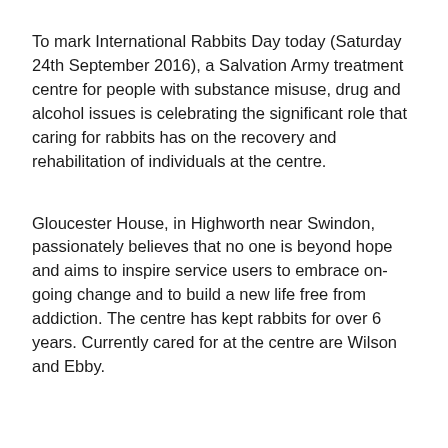To mark International Rabbits Day today (Saturday 24th September 2016), a Salvation Army treatment centre for people with substance misuse, drug and alcohol issues is celebrating the significant role that caring for rabbits has on the recovery and rehabilitation of individuals at the centre.
Gloucester House, in Highworth near Swindon, passionately believes that no one is beyond hope and aims to inspire service users to embrace on-going change and to build a new life free from addiction. The centre has kept rabbits for over 6 years. Currently cared for at the centre are Wilson and Ebby.